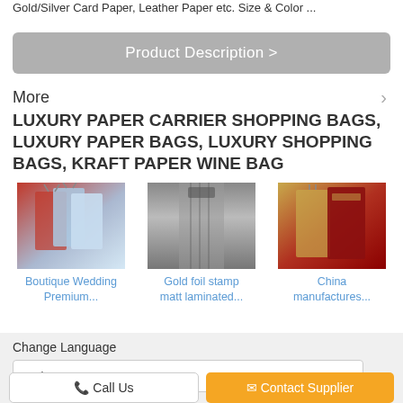Gold/Silver Card Paper, Leather Paper etc. Size & Color ...
Product Description >
More
LUXURY PAPER CARRIER SHOPPING BAGS, LUXURY PAPER BAGS, LUXURY SHOPPING BAGS, KRAFT PAPER WINE BAG
[Figure (photo): Boutique shopping bags in red and blue tones]
Boutique Wedding Premium...
[Figure (photo): Gold foil stamp matt laminated bags hanging]
Gold foil stamp matt laminated...
[Figure (photo): China manufactures wine bags in red and gold]
China manufactures...
Change Language
Select Language
Call Us
Contact Supplier